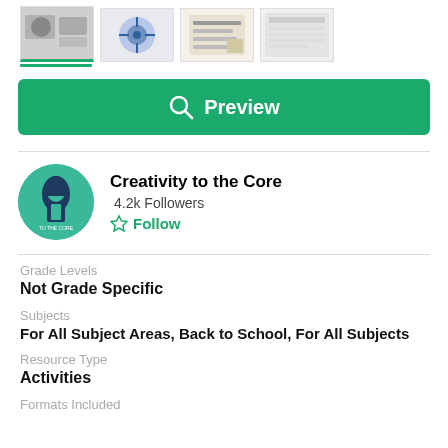[Figure (screenshot): Row of 4 thumbnail images from an educational resource]
[Figure (screenshot): Green Preview button with magnifying glass icon]
Creativity to the Core
4.2k Followers
Follow
Grade Levels
Not Grade Specific
Subjects
For All Subject Areas, Back to School, For All Subjects
Resource Type
Activities
Formats Included